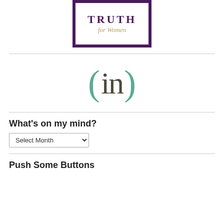[Figure (logo): Truth for Women logo — purple border box with 'TRUTH' in purple serif uppercase and 'for Women' in gold italic script below]
[Figure (logo): (in) incourage logo — parentheses in teal/green with 'in' in dark olive serif text]
What's on my mind?
Select Month (dropdown)
Push Some Buttons